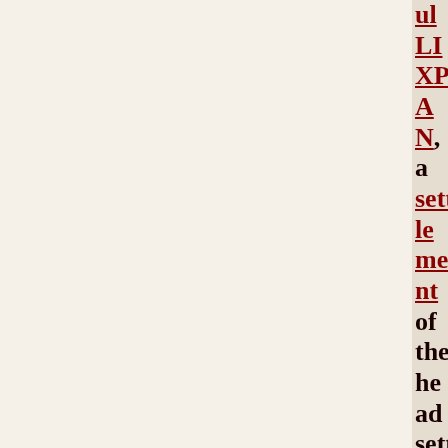ULIXPAN, a settlement of the head settlement and